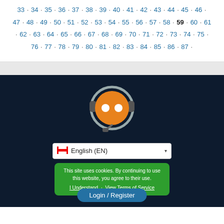33 · 34 · 35 · 36 · 37 · 38 · 39 · 40 · 41 · 42 · 43 · 44 · 45 · 46 · 47 · 48 · 49 · 50 · 51 · 52 · 53 · 54 · 55 · 56 · 57 · 58 · 59 · 60 · 61 · 62 · 63 · 64 · 65 · 66 · 67 · 68 · 69 · 70 · 71 · 72 · 73 · 74 · 75 · 76 · 77 · 78 · 79 · 80 · 81 · 82 · 83 · 84 · 85 · 86 · 87 ·
[Figure (illustration): Robot/bot mascot icon with orange face, white dot eyes, headset, on dark navy background]
English (EN)
This site uses cookies. By continuing to use this website, you agree to their use. I Understand · View Terms of Service
Login / Register